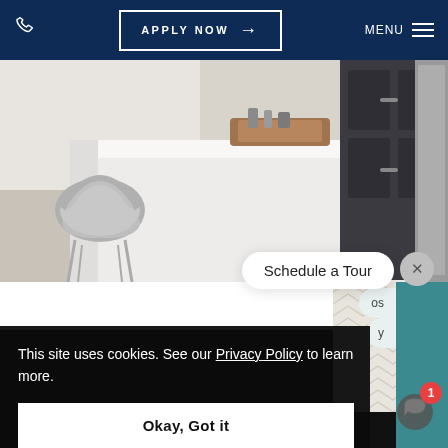APPLY NOW → MENU
[Figure (photo): Kitchen interior photo showing a white kitchen island with bar stools, wood tray with items on top, and dark cabinet in the background]
Schedule a Tour
This site uses cookies. See our Privacy Policy to learn more.
Okay, Got it